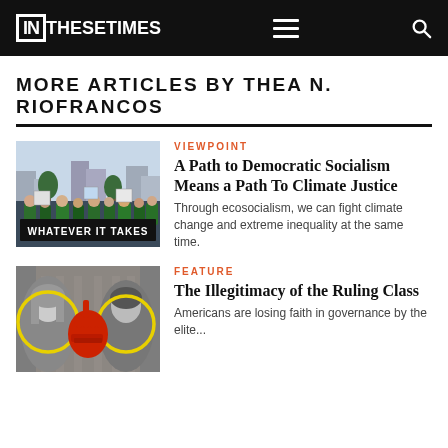IN THESE TIMES
MORE ARTICLES BY THEA N. RIOFRANCOS
[Figure (photo): Crowd of protesters holding a banner that reads 'WHATEVER IT TAKES' at a climate march]
VIEWPOINT
A Path to Democratic Socialism Means a Path To Climate Justice
Through ecosocialism, we can fight climate change and extreme inequality at the same time.
[Figure (photo): Black and white photo of two people with illustrated yellow circle highlights, with a red fist graphic]
FEATURE
The Illegitimacy of the Ruling Class
Americans are losing faith in governance by the elite...